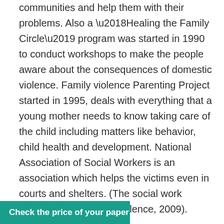communities and help them with their problems. Also a ‘Healing the Family Circle’ program was started in 1990 to conduct workshops to make the people aware about the consequences of domestic violence. Family violence Parenting Project started in 1995, deals with everything that a young mother needs to know taking care of the child including matters like behavior, child health and development. National Association of Social Workers is an association which helps the victims even in courts and shelters. (The social work response to domestic violence, 2009).

Through a Family Violence Initiative, the federal government asks for the Canadians to work together to eliminate domestic violence and abuse against children, women and elder people. There were separate communities for women, children and elders. Funds were allotted by the different departments in the government ogram elements for
Check the price of your paper →